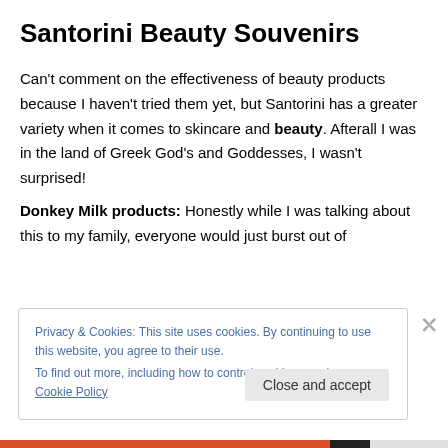Santorini Beauty Souvenirs
Can't comment on the effectiveness of beauty products because I haven't tried them yet, but Santorini has a greater variety when it comes to skincare and beauty. Afterall I was in the land of Greek God's and Goddesses, I wasn't surprised!
Donkey Milk products: Honestly while I was talking about this to my family, everyone would just burst out of
Privacy & Cookies: This site uses cookies. By continuing to use this website, you agree to their use.
To find out more, including how to control cookies, see here: Cookie Policy